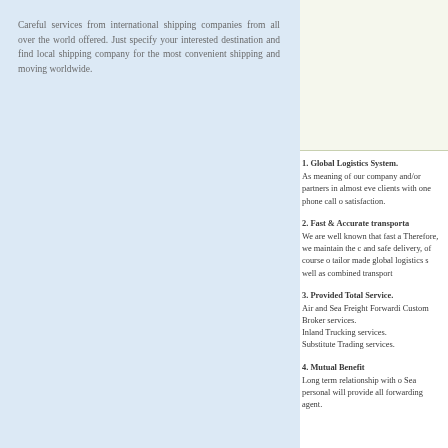Careful services from international shipping companies from all over the world offered. Just specify your interested destination and find local shipping company for the most convenient shipping and moving worldwide.
[Figure (other): Light greenish-white box in upper right portion of the page, appears to be a placeholder image or advertisement space.]
1. Global Logistics System.
As meaning of our company and/or partners in almost eve clients with one phone call o satisfaction.
2. Fast & Accurate transporta We are well known that fast a Therefore, we maintain the c and safe delivery, of course o tailor made global logistics s well as combined transport
3. Provided Total Service.
Air and Sea Freight Forwardi Custom Broker services.
Inland Trucking services.
Substitute Trading services.
4. Mutual Benefit
Long term relationship with o Sea personal will provide all forwarding agent.